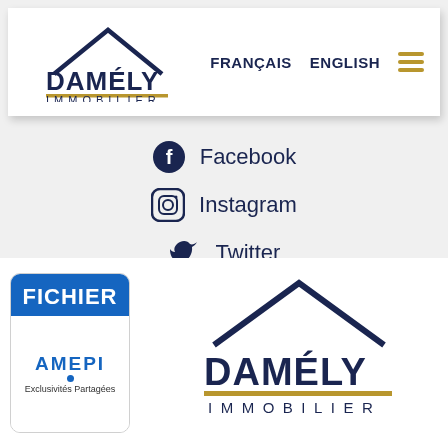[Figure (logo): Damély Immobilier logo in top navigation bar with house roof outline and gold underline, plus FRANÇAIS ENGLISH menu items and hamburger icon]
[Figure (infographic): Social media links: Facebook (with Facebook icon), Instagram (with Instagram icon), Twitter (with Twitter bird icon)]
[Figure (logo): FICHIER AMEPI Exclusivités Partagées badge logo on the left, and Damély Immobilier large logo on the right, in bottom white section]